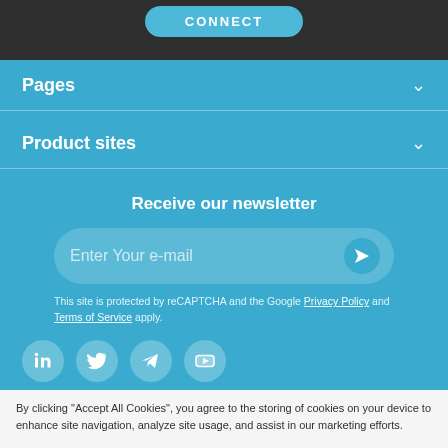[Figure (screenshot): Dark header bar with a Connect button in the top portion]
Pages
Product sites
Receive our newsletter
Enter Your e-mail
This site is protected by reCAPTCHA and the Google Privacy Policy and Terms of Service apply.
[Figure (infographic): Social media icons: LinkedIn, Twitter, Telegram, YouTube]
By clicking "Accept All Cookies", you agree to the storing of cookies on your device to enhance site navigation, analyze site usage, and assist in our marketing efforts.